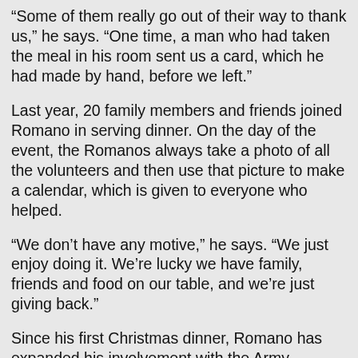“Some of them really go out of their way to thank us,” he says. “One time, a man who had taken the meal in his room sent us a card, which he had made by hand, before we left.”
Last year, 20 family members and friends joined Romano in serving dinner. On the day of the event, the Romanos always take a photo of all the volunteers and then use that picture to make a calendar, which is given to everyone who helped.
“We don’t have any motive,” he says. “We just enjoy doing it. We’re lucky we have family, friends and food on our table, and we’re just giving back.”
Since his first Christmas dinner, Romano has expanded his involvement with the Army, preparing food for Easter and Booth Centre fundraisers.
“If anyone ever asks us, ‘Who would you donate to?’